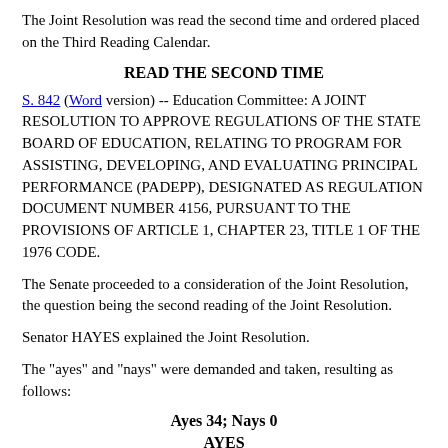The Joint Resolution was read the second time and ordered placed on the Third Reading Calendar.
READ THE SECOND TIME
S. 842 (Word version) -- Education Committee: A JOINT RESOLUTION TO APPROVE REGULATIONS OF THE STATE BOARD OF EDUCATION, RELATING TO PROGRAM FOR ASSISTING, DEVELOPING, AND EVALUATING PRINCIPAL PERFORMANCE (PADEPP), DESIGNATED AS REGULATION DOCUMENT NUMBER 4156, PURSUANT TO THE PROVISIONS OF ARTICLE 1, CHAPTER 23, TITLE 1 OF THE 1976 CODE.
The Senate proceeded to a consideration of the Joint Resolution, the question being the second reading of the Joint Resolution.
Senator HAYES explained the Joint Resolution.
The "ayes" and "nays" were demanded and taken, resulting as follows:
Ayes 34; Nays 0
AYES